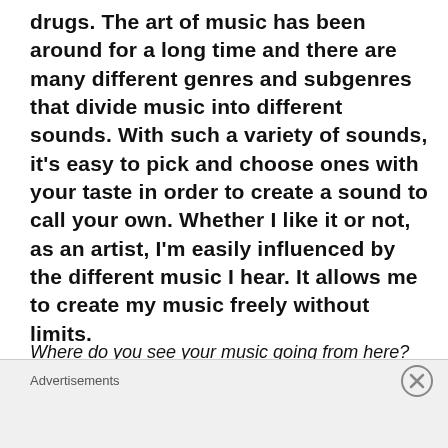drugs. The art of music has been around for a long time and there are many different genres and subgenres that divide music into different sounds. With such a variety of sounds, it's easy to pick and choose ones with your taste in order to create a sound to call your own. Whether I like it or not, as an artist, I'm easily influenced by the different music I hear. It allows me to create my music freely without limits.
Where do you see your music going from here?
Since I graduated high school I started
Advertisements